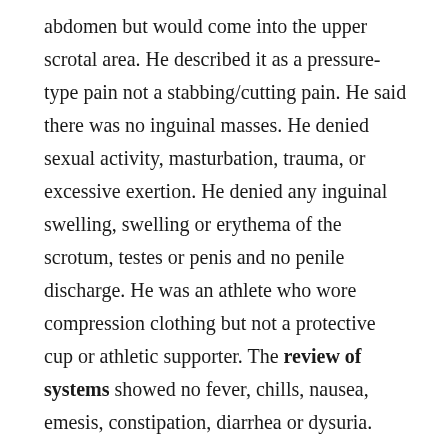abdomen but would come into the upper scrotal area. He described it as a pressure-type pain not a stabbing/cutting pain. He said there was no inguinal masses. He denied sexual activity, masturbation, trauma, or excessive exertion. He denied any inguinal swelling, swelling or erythema of the scrotum, testes or penis and no penile discharge. He was an athlete who wore compression clothing but not a protective cup or athletic supporter. The review of systems showed no fever, chills, nausea, emesis, constipation, diarrhea or dysuria.
The pertinent physical exam showed normal vital signs and growth parameters. His genitourinary examination showed Tanner V pubertal changes with no skin changes, erythema or edema. There was no specific